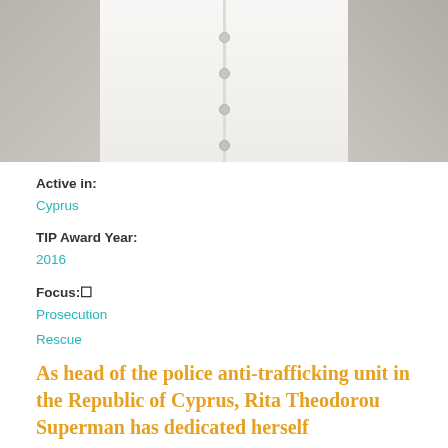[Figure (photo): Cropped photo of a person wearing a white button-up sleeveless shirt, torso only visible]
Active in:
Cyprus
TIP Award Year:
2016
Focus:
Prosecution
Rescue
As head of the police anti-trafficking unit in the Republic of Cyprus, Rita Theodorou Superman has dedicated herself